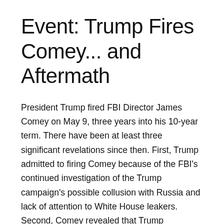Event: Trump Fires Comey... and Aftermath
President Trump fired FBI Director James Comey on May 9, three years into his 10-year term. There have been at least three significant revelations since then. First, Trump admitted to firing Comey because of the FBI's continued investigation of the Trump campaign's possible collusion with Russia and lack of attention to White House leakers. Second, Comey revealed that Trump requested Comey's personal loyalty at a January 27 dinner, which was not given. Third, Trump later requ...